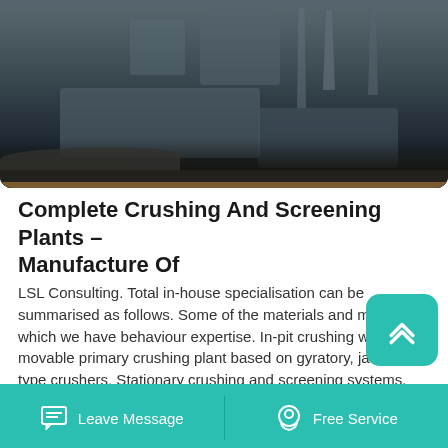[Figure (photo): Aerial/ground view of a large crushing and screening plant with heavy machinery, cranes, and rock piles at a mining or quarrying site. Dark, industrial atmosphere with machinery silhouettes against a hazy sky.]
Complete Crushing And Screening Plants – Manufacture Of
LSL Consulting. Total in-house specialisation can be summarised as follows. Some of the materials and minerals in which we have behaviour expertise. In-pit crushing with movable primary crushing plant based on gyratory, jaw or roll type crushers. Stationary crushing and screening systems. Conveyor systems comprising in-plant, long overland.
Leave Message
Free Service